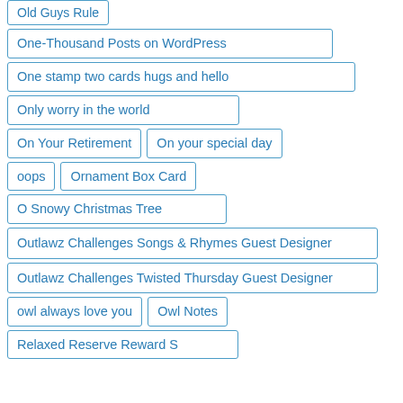Old Guys Rule
One-Thousand Posts on WordPress
One stamp two cards hugs and hello
Only worry in the world
On Your Retirement
On your special day
oops
Ornament Box Card
O Snowy Christmas Tree
Outlawz Challenges Songs & Rhymes Guest Designer
Outlawz Challenges Twisted Thursday Guest Designer
owl always love you
Owl Notes
Relaxed Reserve Reward S...